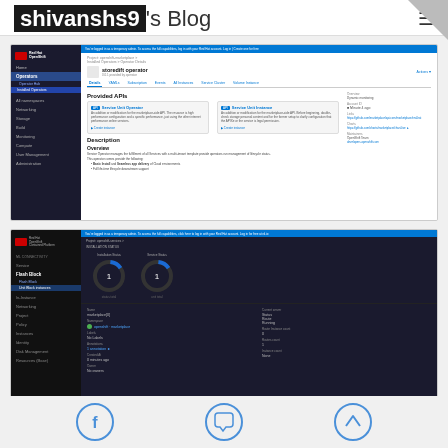shivanshs9's Blog
[Figure (screenshot): Screenshot of Red Hat OpenShift marketplace operator page showing Provided APIs section with Service Unit Operator and Service Unit Instance cards, Description and Overview sections, and a dark left navigation sidebar]
[Figure (screenshot): Screenshot of Red Hat OpenShift marketplace operator instance page showing two donut chart metrics, and instance details including Name, Namespace, Owner, Labels, Annotations, Created At, Status, and Current Server sections]
[Figure (other): Social media footer icons: Facebook, Comment/Chat, and Arrow Up circles]